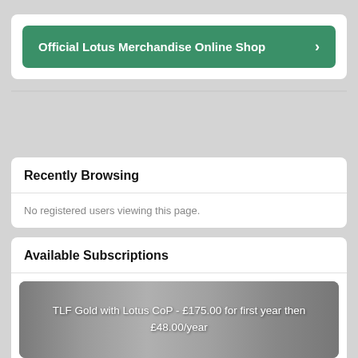[Figure (screenshot): Green button labeled 'Official Lotus Merchandise Online Shop' with a right arrow chevron on a white card]
Recently Browsing
No registered users viewing this page.
Available Subscriptions
[Figure (photo): Subscription banner image showing 'TLF Gold with Lotus CoP - £175.00 for first year then £48.00/year' text overlaid on a photo of Lotus-branded products on a granite surface]